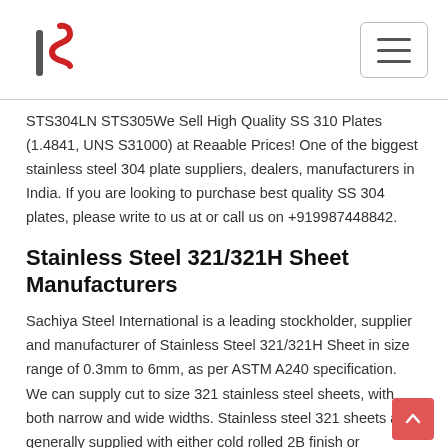STS304LN STS305We Sell High Quality SS 310 Plates (1.4841, UNS S31000) at Reaable Prices! One of the biggest stainless steel 304 plate suppliers, dealers, manufacturers in India. If you are looking to purchase best quality SS 304 plates, please write to us at or call us on +919987448842.
Stainless Steel 321/321H Sheet Manufacturers
Sachiya Steel International is a leading stockholder, supplier and manufacturer of Stainless Steel 321/321H Sheet in size range of 0.3mm to 6mm, as per ASTM A240 specification. We can supply cut to size 321 stainless steel sheets, with both narrow and wide widths. Stainless steel 321 sheets are generally supplied with either cold rolled 2B finish or Stainless Steel 430 Sheet Manufacturers - Sachiya Sheet PlatesSachiya Steel International Is a leading stockholder, supplier and manufacturer of stainless steel 430 sheets in size range of 0.3mm to 6mm, as per ASTM A240 specification. We can